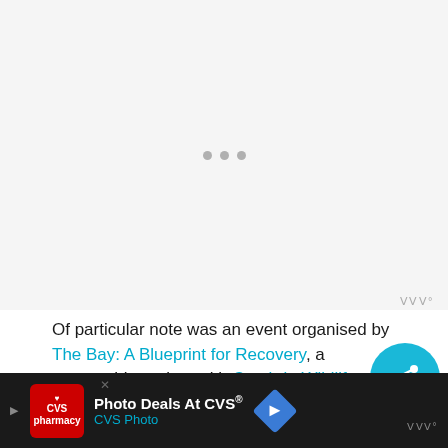[Figure (other): Loading placeholder area with three grey dots indicating image not yet loaded, on light grey background]
Of particular note was an event organised by The Bay: A Blueprint for Recovery, a partnership project with Cumbria Wildlife Trust and The...
[Figure (other): Teal circular share button with white share icon]
[Figure (other): CVS Photo advertisement banner with red CVS pharmacy logo, 'Photo Deals At CVS®' text in white, 'CVS Photo' in teal, blue road sign arrow, and weather widget icon]